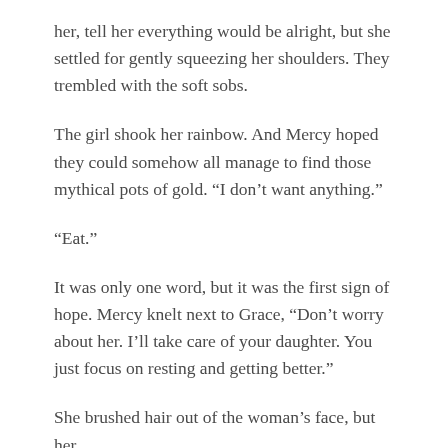her, tell her everything would be alright, but she settled for gently squeezing her shoulders. They trembled with the soft sobs.
The girl shook her rainbow. And Mercy hoped they could somehow all manage to find those mythical pots of gold. “I don’t want anything.”
“Eat.”
It was only one word, but it was the first sign of hope. Mercy knelt next to Grace, “Don’t worry about her. I’ll take care of your daughter. You just focus on resting and getting better.”
She brushed hair out of the woman’s face, but her